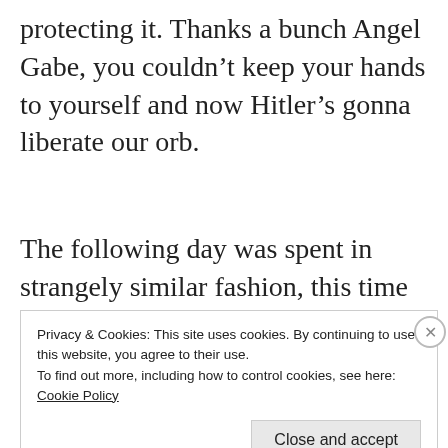protecting it. Thanks a bunch Angel Gabe, you couldn't keep your hands to yourself and now Hitler's gonna liberate our orb.
The following day was spent in strangely similar fashion, this time setting out on the
Privacy & Cookies: This site uses cookies. By continuing to use this website, you agree to their use.
To find out more, including how to control cookies, see here: Cookie Policy
Close and accept